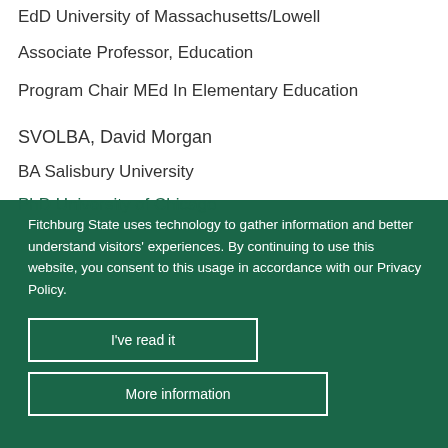EdD University of Massachusetts/Lowell
Associate Professor, Education
Program Chair MEd In Elementary Education
SVOLBA, David Morgan
BA Salisbury University
MA Katholieke Universiteit Leuven, Belgium
PhD University of Chicago
Fitchburg State uses technology to gather information and better understand visitors' experiences. By continuing to use this website, you consent to this usage in accordance with our Privacy Policy.
I've read it
More information